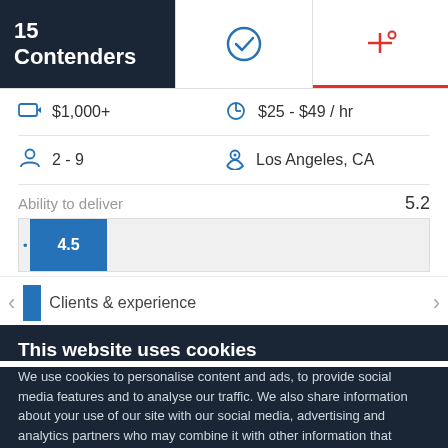15 Contenders
[Figure (screenshot): Info grid showing $1,000+ project budget, $25-$49/hr hourly rate, 2-9 employees, Los Angeles CA location]
Ability to deliver
5.2
[Figure (bar-chart): Ability to deliver]
Clients & experience
This website uses cookies
We use cookies to personalise content and ads, to provide social media features and to analyse our traffic. We also share information about your use of our site with our social media, advertising and analytics partners who may combine it with other information that you've provided to them or that they've collected from your use of their services. You agree to our cookies if you continue to use our website.
Close
Show details